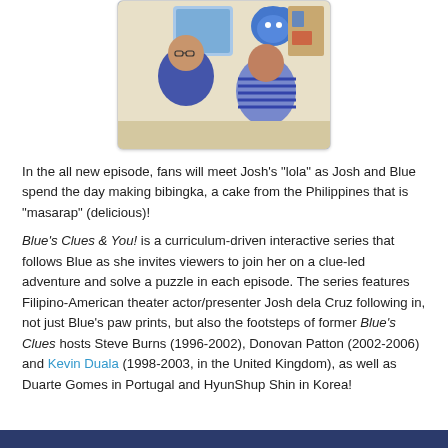[Figure (photo): Two people on a colorful set from Blue's Clues & You: a woman in a blue jacket and a man in a blue striped shirt, with Blue the animated dog puppet visible in the background]
In the all new episode, fans will meet Josh's “lola” as Josh and Blue spend the day making bibingka, a cake from the Philippines that is “masarap” (delicious)!
Blue’s Clues & You! is a curriculum-driven interactive series that follows Blue as she invites viewers to join her on a clue-led adventure and solve a puzzle in each episode. The series features Filipino-American theater actor/presenter Josh dela Cruz following in, not just Blue’s paw prints, but also the footsteps of former Blue’s Clues hosts Steve Burns (1996-2002), Donovan Patton (2002-2006) and Kevin Duala (1998-2003, in the United Kingdom), as well as Duarte Gomes in Portugal and HyunShup Shin in Korea!